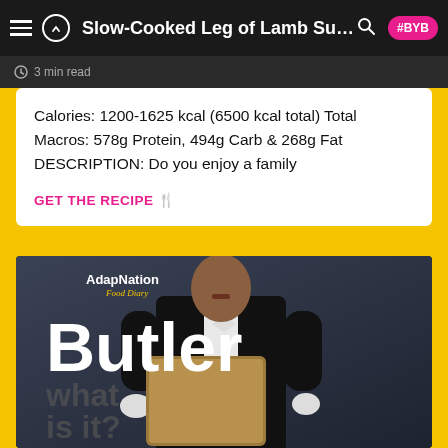Slow-Cooked Leg of Lamb Sunday Roast #BYB
3 min read
Calories: 1200-1625 kcal (6500 kcal total) Total Macros: 578g Protein, 494g Carb & 268g Fat DESCRIPTION: Do you enjoy a family
GET THE RECIPE 🍴
[Figure (photo): AdapNation Food Diary Butler promotional image showing a butler in formal tuxedo holding a menu/folder. Large white bold text reads 'Butler' and grey text reads 'what is it?']